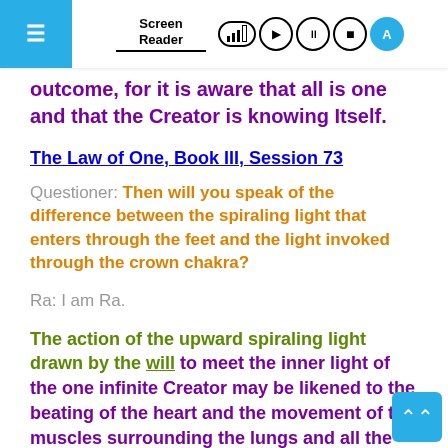Screen Reader [toolbar with signal, play, pause, stop, A buttons]
outcome, for it is aware that all is one and that the Creator is knowing Itself.
The Law of One, Book III, Session 73
Questioner: Then will you speak of the difference between the spiraling light that enters through the feet and the light invoked through the crown chakra?
Ra: I am Ra.
The action of the upward spiraling light drawn by the will to meet the inner light of the one infinite Creator may be likened to the beating of the heart and the movement of the muscles surrounding the lungs and all the other functions of